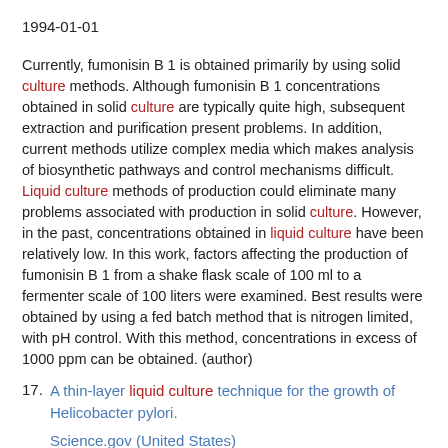1994-01-01
Currently, fumonisin B 1 is obtained primarily by using solid culture methods. Although fumonisin B 1 concentrations obtained in solid culture are typically quite high, subsequent extraction and purification present problems. In addition, current methods utilize complex media which makes analysis of biosynthetic pathways and control mechanisms difficult. Liquid culture methods of production could eliminate many problems associated with production in solid culture. However, in the past, concentrations obtained in liquid culture have been relatively low. In this work, factors affecting the production of fumonisin B 1 from a shake flask scale of 100 ml to a fermenter scale of 100 liters were examined. Best results were obtained by using a fed batch method that is nitrogen limited, with pH control. With this method, concentrations in excess of 1000 ppm can be obtained. (author)
17. A thin-layer liquid culture technique for the growth of Helicobacter pylori.
Science.gov (United States)